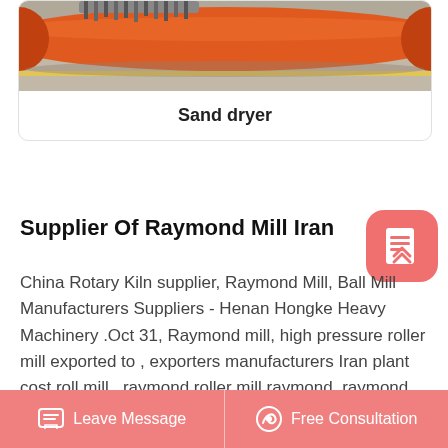[Figure (photo): Photo of an orange industrial sand dryer roller/drum on a surface with yellow markings, partially visible at top of card]
Sand dryer
Supplier Of Raymond Mill Iran
China Rotary Kiln supplier, Raymond Mill, Ball Mill Manufacturers Suppliers - Henan Hongke Heavy Machinery .Oct 31, Raymond mill, high pressure roller mill exported to , exporters manufacturers Iran plant cost roll mill , raymond roller mill,raymond. raymond roller mill manufacturers in Iran - ititalcherorg Raymond Roller Mill Manufacturer Iran Feb 13, It can take a variety
Leave Message   Free Consultation